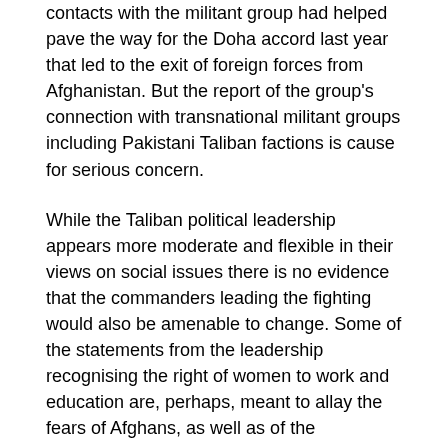contacts with the militant group had helped pave the way for the Doha accord last year that led to the exit of foreign forces from Afghanistan. But the report of the group's connection with transnational militant groups including Pakistani Taliban factions is cause for serious concern.
While the Taliban political leadership appears more moderate and flexible in their views on social issues there is no evidence that the commanders leading the fighting would also be amenable to change. Some of the statements from the leadership recognising the right of women to work and education are, perhaps, meant to allay the fears of Afghans, as well as of the international community, regarding the possibility of the Taliban reverting to their old ways and attempting to re-establish a tyrannical rule.
The issue had been of considerable concern to Afghan women and rights groups who believe that the insurgents could reverse the strides taken in female education in Afghanistan over the past two decades.